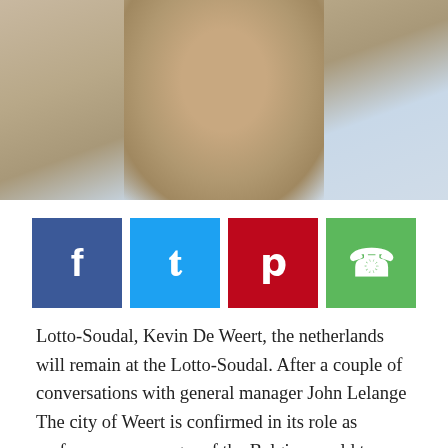[Figure (photo): Close-up photograph of a man's face in profile, wearing a light blue shirt, with a blurred outdoor background.]
[Figure (infographic): Social media share buttons: Facebook (blue), Twitter (cyan), Pinterest (red), WhatsApp (green)]
Lotto-Soudal, Kevin De Weert, the netherlands will remain at the Lotto-Soudal. After a couple of conversations with general manager John Lelange The city of Weert is confirmed in its role as performance manager of the Belgian world tour team. There is going to be a little paleisrevolutie by Lotto-Soudal's part of the package. Marc Sergeant, who is now the sports manager will be in the future play a role as a consultant.
De Weert, himself a seemingly impossible and, after two incidents in the Tour de France and Tour of Spain, De Weert